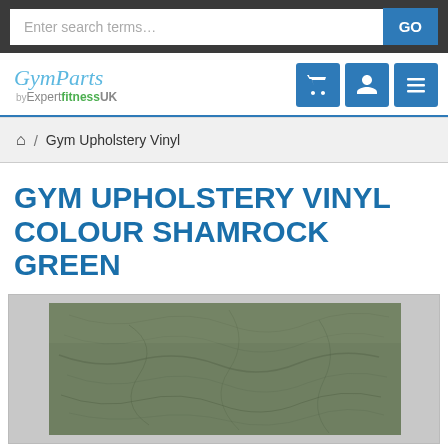Enter search terms... GO
[Figure (logo): GymParts by ExpertfitnessUK logo with shopping cart, user, and menu icons]
🏠 / Gym Upholstery Vinyl
GYM UPHOLSTERY VINYL COLOUR SHAMROCK GREEN
[Figure (photo): Close-up photo of shamrock green textured upholstery vinyl material]